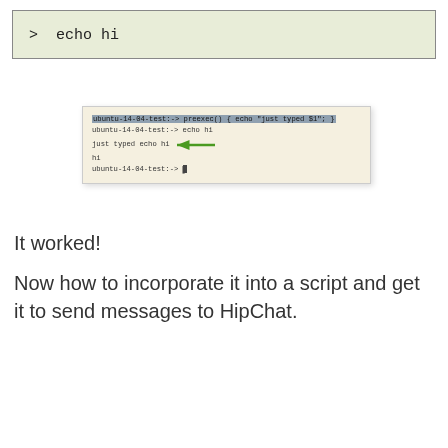>  echo hi
[Figure (screenshot): Terminal screenshot showing ubuntu-14-04-test:-> preexec() { echo "just typed $1"; } then ubuntu-14-04-test:-> echo hi, output: just typed echo hi, hi, ubuntu-14-04-test:-> with a green arrow pointing to the output line]
It worked!
Now how to incorporate it into a script and get it to send messages to HipChat.